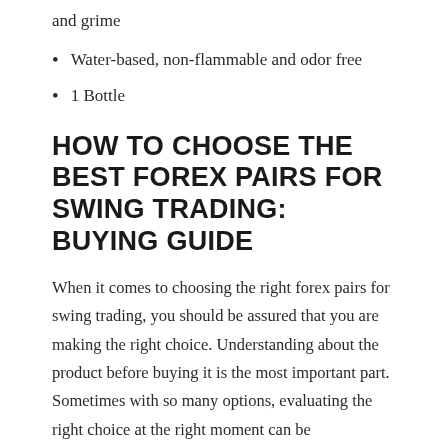and grime
Water-based, non-flammable and odor free
1 Bottle
HOW TO CHOOSE THE BEST FOREX PAIRS FOR SWING TRADING: BUYING GUIDE
When it comes to choosing the right forex pairs for swing trading, you should be assured that you are making the right choice. Understanding about the product before buying it is the most important part. Sometimes with so many options, evaluating the right choice at the right moment can be problematic. So, check out the buying guide to overcome all the